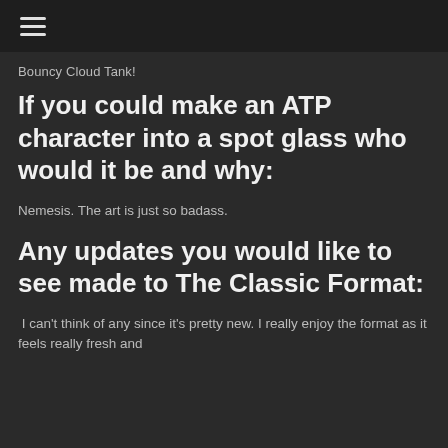☰
Bouncy Cloud Tank!
If you could make an ATP character into a spot glass who would it be and why:
Nemesis. The art is just so badass.
Any updates you would like to see made to The Classic Format:
I can't think of any since it's pretty new. I really enjoy the format as it feels really fresh and